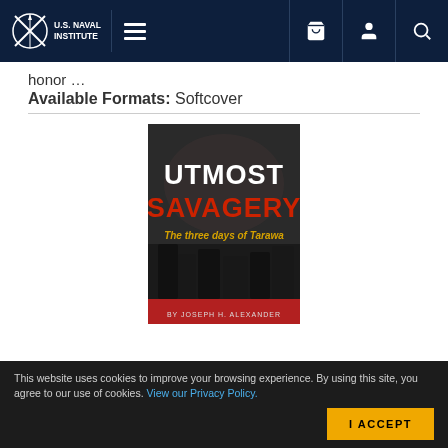U.S. Naval Institute
honor …
Available Formats: Softcover
[Figure (illustration): Book cover of 'Utmost Savagery: The three days of Tarawa' by Joseph H. Alexander. Dark background with soldiers in foreground and bold red and white title text.]
This website uses cookies to improve your browsing experience. By using this site, you agree to our use of cookies. View our Privacy Policy.